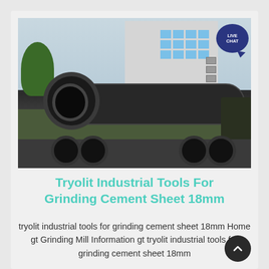[Figure (photo): Large industrial grinding mill cylinder loaded on a flatbed truck, with a multi-story white building and trees in the background. A 'LIVE CHAT' speech bubble icon appears in the upper right corner.]
Tryolit Industrial Tools For Grinding Cement Sheet 18mm
tryolit industrial tools for grinding cement sheet 18mm Home gt Grinding Mill Information gt tryolit industrial tools for grinding cement sheet 18mm